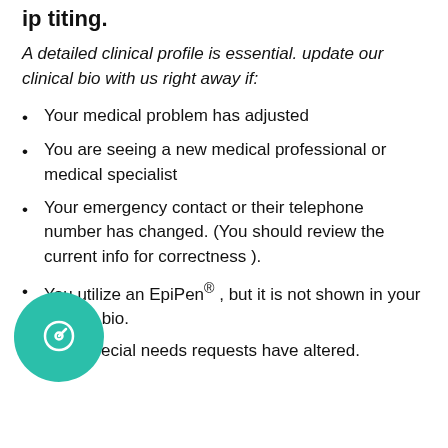ip titing.
A detailed clinical profile is essential. update our clinical bio with us right away if:
Your medical problem has adjusted
You are seeing a new medical professional or medical specialist
Your emergency contact or their telephone number has changed. (You should review the current info for correctness ).
You utilize an EpiPen® , but it is not shown in your current bio.
Your special needs requests have altered.